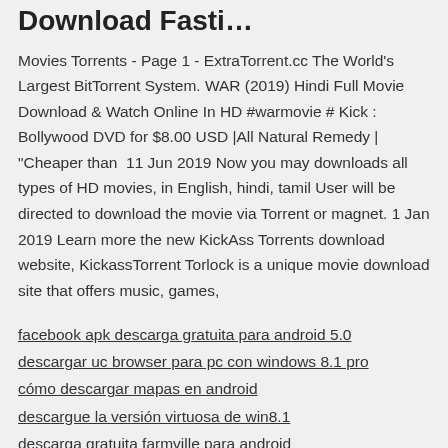Download Fasti…
Movies Torrents - Page 1 - ExtraTorrent.cc The World's Largest BitTorrent System. WAR (2019) Hindi Full Movie Download & Watch Online In HD #warmovie # Kick : Bollywood DVD for $8.00 USD |All Natural Remedy | "Cheaper than  11 Jun 2019 Now you may downloads all types of HD movies, in English, hindi, tamil User will be directed to download the movie via Torrent or magnet. 1 Jan 2019 Learn more the new KickAss Torrents download website, KickassTorrent Torlock is a unique movie download site that offers music, games,
facebook apk descarga gratuita para android 5.0
descargar uc browser para pc con windows 8.1 pro
cómo descargar mapas en android
descargue la versión virtuosa de win8.1
descarga gratuita farmville para android
descargar un archivo ejecutable a través de la terminal